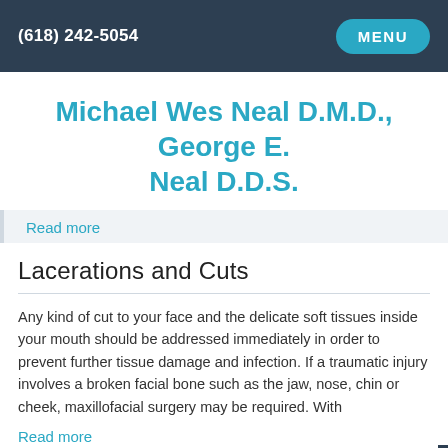(618) 242-5054  MENU
Michael Wes Neal D.M.D., George E. Neal D.D.S.
Read more
Lacerations and Cuts
Any kind of cut to your face and the delicate soft tissues inside your mouth should be addressed immediately in order to prevent further tissue damage and infection. If a traumatic injury involves a broken facial bone such as the jaw, nose, chin or cheek, maxillofacial surgery may be required. With
Read more